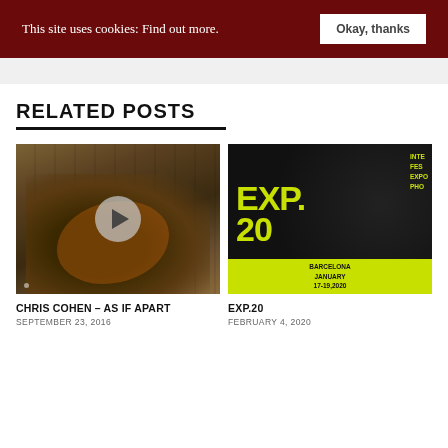This site uses cookies: Find out more.   Okay, thanks
RELATED POSTS
[Figure (photo): Man playing acoustic guitar in front of a wooden wall background, with a play button overlay indicating a video]
CHRIS COHEN – AS IF APART
SEPTEMBER 23, 2016
[Figure (photo): EXP.20 event poster with yellow text on black background, reading EXP.20 BARCELONA JANUARY 17-19, 2020 with side text INTE FES EXPO PHO]
EXP.20
FEBRUARY 4, 2020